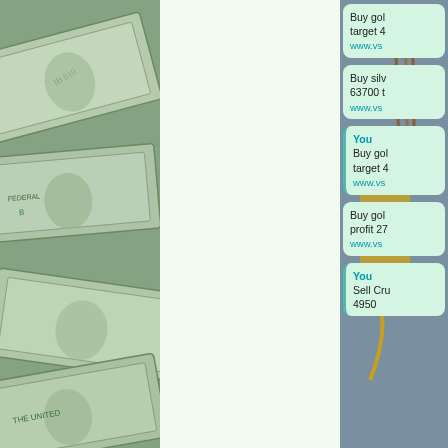[Figure (photo): US dollar bills fanned out, showing faces and serial numbers, greenish tint]
[Figure (screenshot): Mobile chat screenshot showing trading tip messages on background with Sagittarius golden figure holding arrows. Messages include: 'Buy gold... target 4... www.vs...', 'Buy silv... 63700 t... www.vs...', 'You: Buy gold... target 4... www.vs...', 'Buy gol... profit 27... www.vs...', 'You: Sell Cru... 4950...']